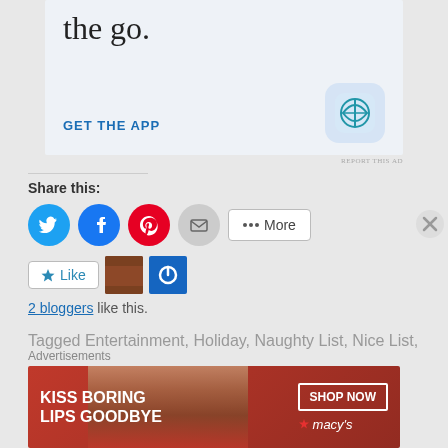[Figure (screenshot): WordPress mobile app advertisement with text 'the go.' and 'GET THE APP' button with WordPress logo icon on light blue background]
REPORT THIS AD
Share this:
[Figure (infographic): Social share buttons: Twitter (blue circle), Facebook (blue circle), Pinterest (red circle), Email (gray circle), More button]
[Figure (infographic): Like button, blogger avatar thumbnail, power icon button]
2 bloggers like this.
Tagged Entertainment, Holiday, Naughty List, Nice List,
Advertisements
[Figure (screenshot): Macy's advertisement: KISS BORING LIPS GOODBYE with SHOP NOW button and Macy's star logo]